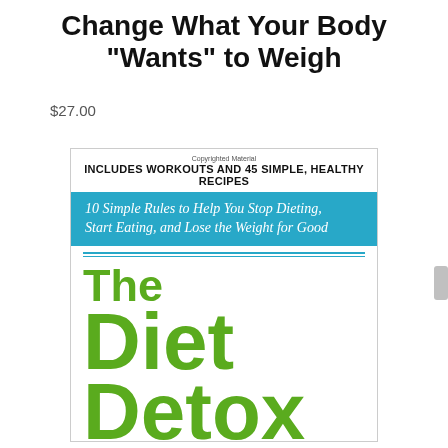Change What Your Body “Wants” to Weigh
$27.00
[Figure (photo): Book cover of 'The Diet Detox' showing the cover design with a teal banner reading '10 Simple Rules to Help You Stop Dieting, Start Eating, and Lose the Weight for Good', bold text 'INCLUDES WORKOUTS AND 45 SIMPLE, HEALTHY RECIPES', and large green text reading 'The Diet Detox']